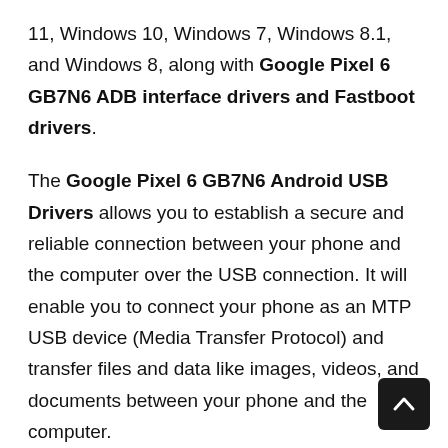11, Windows 10, Windows 7, Windows 8.1, and Windows 8, along with Google Pixel 6 GB7N6 ADB interface drivers and Fastboot drivers.
The Google Pixel 6 GB7N6 Android USB Drivers allows you to establish a secure and reliable connection between your phone and the computer over the USB connection. It will enable you to connect your phone as an MTP USB device (Media Transfer Protocol) and transfer files and data like images, videos, and documents between your phone and the computer.